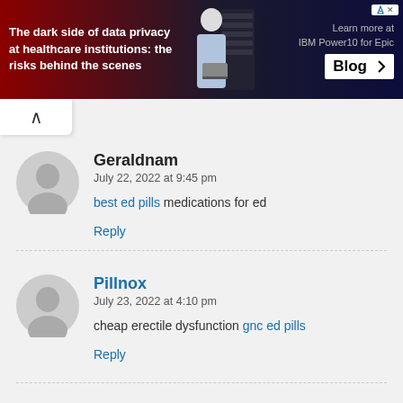[Figure (other): Banner advertisement: 'The dark side of data privacy at healthcare institutions: the risks behind the scenes' with IBM Power10 for Epic Blog branding and a person with laptops/servers graphic]
Geraldnam
July 22, 2022 at 9:45 pm
best ed pills medications for ed
Reply
Pillnox
July 23, 2022 at 4:10 pm
cheap erectile dysfunction gnc ed pills
Reply
RichardraL